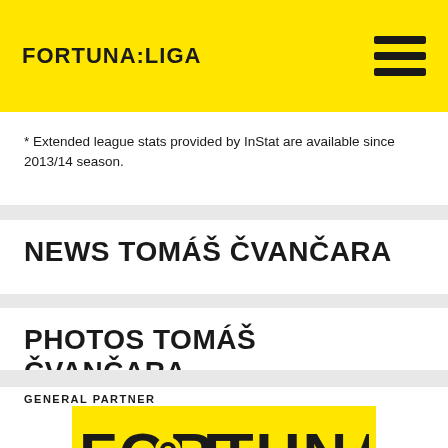FORTUNA:LIGA
* Extended league stats provided by InStat are available since 2013/14 season.
NEWS TOMÁŠ ČVANČARA
PHOTOS TOMÁŠ ČVANČARA
GENERAL PARTNER
[Figure (logo): FORTUNA logo in black text on yellow background]